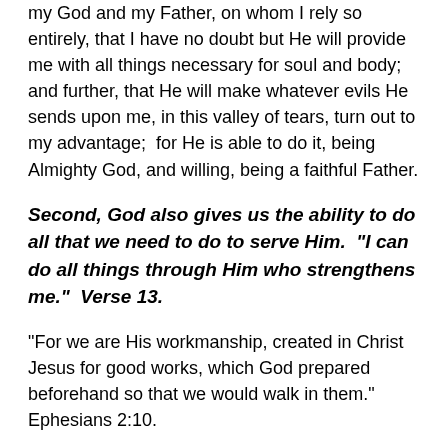my God and my Father, on whom I rely so entirely, that I have no doubt but He will provide me with all things necessary for soul and body;  and further, that He will make whatever evils He sends upon me, in this valley of tears, turn out to my advantage;  for He is able to do it, being Almighty God, and willing, being a faithful Father.
Second, God also gives us the ability to do all that we need to do to serve Him.  "I can do all things through Him who strengthens me."  Verse 13.
"For we are His workmanship, created in Christ Jesus for good works, which God prepared beforehand so that we would walk in them."  Ephesians 2:10.
"for it is God who is at work in you, both to will and to work for His good pleasure."  Verse 13.
"For the grace of God has appeared, bringing salvation to